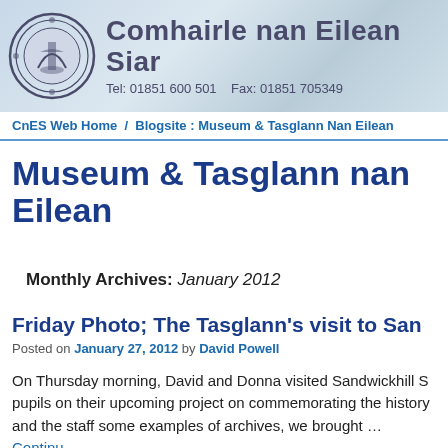[Figure (logo): Comhairle nan Eilean Siar website header banner with council logo/crest on left and organisation name and contact details on right, over a sky/clouds background image.]
CnES Web Home / Blogsite : Museum & Tasglann Nan Eilean
Museum & Tasglann nan Eilean
Monthly Archives: January 2012
Friday Photo; The Tasglann’s visit to San
Posted on January 27, 2012 by David Powell
On Thursday morning, David and Donna visited Sandwickhill S pupils on their upcoming project on commemorating the history and the staff some examples of archives, we brought … Continu